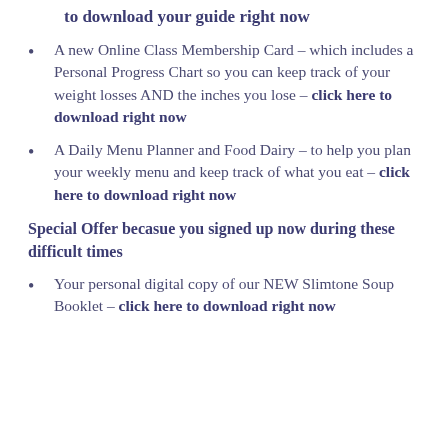to download your guide right now
A new Online Class Membership Card – which includes a Personal Progress Chart so you can keep track of your weight losses AND the inches you lose – click here to download right now
A Daily Menu Planner and Food Dairy – to help you plan your weekly menu and keep track of what you eat – click here to download right now
Special Offer becasue you signed up now during these difficult times
Your personal digital copy of our NEW Slimtone Soup Booklet – click here to download right now